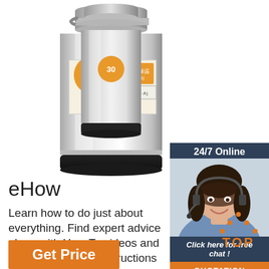[Figure (photo): Two stainless steel vacuum insulated food containers/thermoses. The left one is larger and has Chinese text labels and a '304' stainless steel badge with an orange background. The right one is smaller. Both have shiny metallic surfaces with black bases.]
[Figure (infographic): Customer service chat widget showing '24/7 Online' text, a female customer service agent with headset, 'Click here for free chat!' text link, and an orange QUOTATION button.]
eHow
Learn how to do just about everything. Find expert advice along with How To videos and articles, including instructions on how to make, cook, grow, or do almost anything.
[Figure (infographic): Orange dotted triangle with 'TOP' text in orange, serving as a back-to-top button.]
Get Price